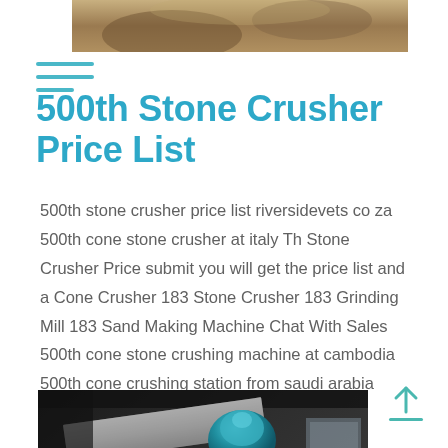[Figure (photo): Top portion of an outdoor photo showing brownish/sandy material, partially visible at top of page]
500th Stone Crusher Price List
500th stone crusher price list riversidevets co za 500th cone stone crusher at italy Th Stone Crusher Price submit you will get the price list and a Cone Crusher 183 Stone Crusher 183 Grinding Mill 183 Sand Making Machine Chat With Sales 500th cone stone crushing machine at cambodia 500th cone crushing station from saudi arabia Read More
[Figure (photo): Industrial machinery interior showing large equipment with metal structures, a teal/blue cylindrical motor or sensor on a pole, conveyor or processing equipment, and a window letting in light from the right side]